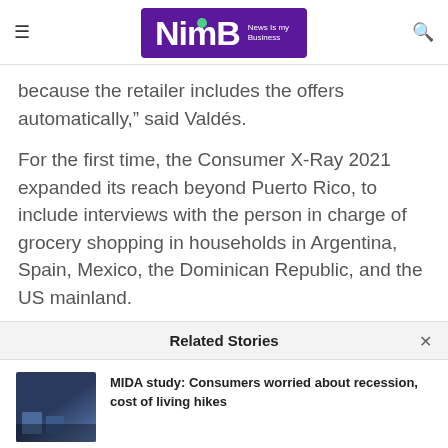NimB News Is my Business
because the retailer includes the offers automatically,” said Valdés.
For the first time, the Consumer X-Ray 2021 expanded its reach beyond Puerto Rico, to include interviews with the person in charge of grocery shopping in households in Argentina, Spain, Mexico, the Dominican Republic, and the US mainland.
Related Stories
MIDA study: Consumers worried about recession, cost of living hikes